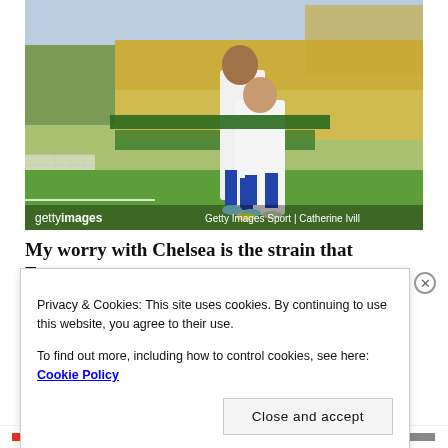[Figure (photo): Two Chelsea FC footballers in white kits celebrating on a football pitch during a match, with a large crowd of yellow-clad Norwich City supporters visible in the background. A goal net is visible on the left. Getty Images watermark bottom left, credit 'Getty Images Sport | Catherine Ivill' bottom right.]
My worry with Chelsea is the strain that European
Privacy & Cookies: This site uses cookies. By continuing to use this website, you agree to their use.
To find out more, including how to control cookies, see here: Cookie Policy
Close and accept